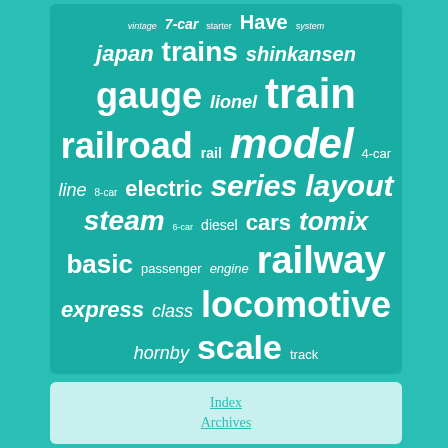[Figure (infographic): Word cloud on teal/green background featuring model train related terms in varying sizes: vintage, 7-car, starter, Have, system, japan, trains, shinkansen, gauge, lionel, train, railroad, rail, model, 4-car, line, 8-car, electric, series, layout, steam, 6-car, diesel, cars, tomix, basic, passenger, engine, railway, express, class, locomotive, hornby, scale, track]
Index
Archives